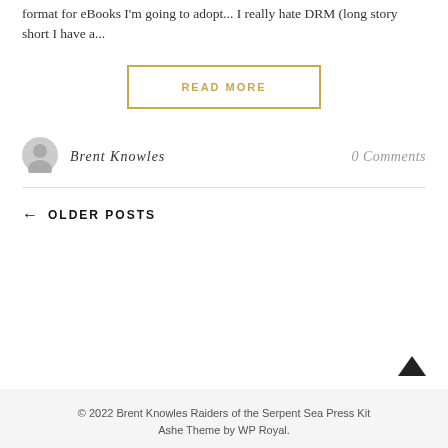format for eBooks I'm going to adopt... I really hate DRM (long story short I have a...
READ MORE
Brent Knowles
0 Comments
← OLDER POSTS
© 2022 Brent Knowles Raiders of the Serpent Sea Press Kit
Ashe Theme by WP Royal.